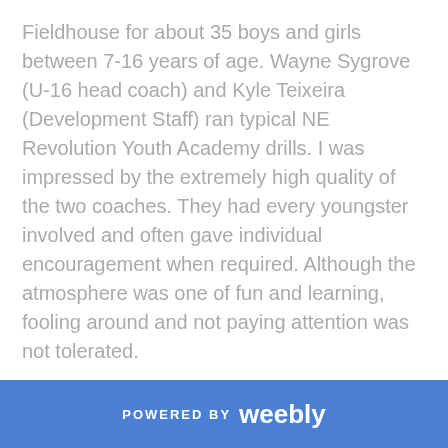Fieldhouse for about 35 boys and girls between 7-16 years of age. Wayne Sygrove (U-16 head coach) and Kyle Teixeira (Development Staff) ran typical NE Revolution Youth Academy drills. I was impressed by the extremely high quality of the two coaches. They had every youngster involved and often gave individual encouragement when required. Although the atmosphere was one of fun and learning, fooling around and not paying attention was not tolerated.
I had met Wayne and Kyle when they visited Peter at the Warehouse earlier in the year to set up this event and to schedule 3-day youth training sessions in November and the following February. During a break, I asked Wayne what he thought of the problems of the
POWERED BY weebly